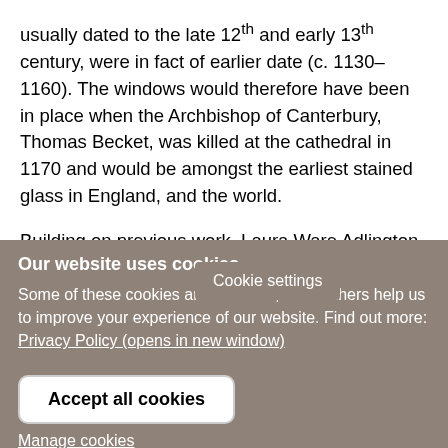usually dated to the late 12th and early 13th century, were in fact of earlier date (c. 1130–1160). The windows would therefore have been in place when the Archbishop of Canterbury, Thomas Becket, was killed at the cathedral in 1170 and would be amongst the earliest stained glass in England, and the world.
Building on previous work, Laura Ware Adlington and Ian Freestone at the Institute of Archaeology, together with Léonie Seliger, the [Cookie settings] Glass Conservation
Our website uses cookies
Some of these cookies are essential, while others help us to improve your experience of our website. Find out more:
Privacy Policy (opens in new window)
Accept all cookies
Manage cookies